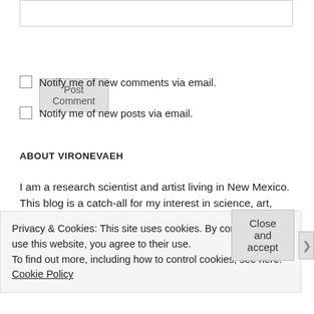[textarea box]
Post Comment
Notify me of new comments via email.
Notify me of new posts via email.
ABOUT VIRONEVAEH
I am a research scientist and artist living in New Mexico. This blog is a catch-all for my interest in science, art, and science fiction. I post sporadically about various fascinations or projects
Privacy & Cookies: This site uses cookies. By continuing to use this website, you agree to their use.
To find out more, including how to control cookies, see here: Cookie Policy
Close and accept